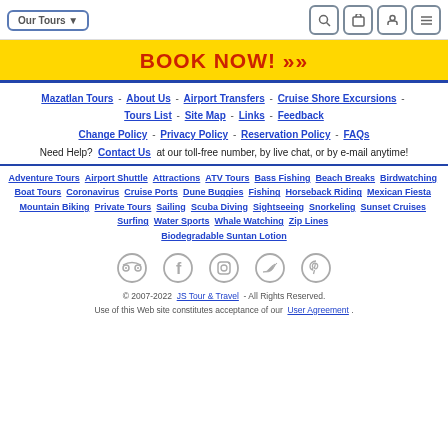Our Tours ▼  [search] [cart] [phone] [menu]
BOOK NOW! »
Mazatlan Tours - About Us - Airport Transfers - Cruise Shore Excursions - Tours List - Site Map - Links - Feedback
Change Policy - Privacy Policy - Reservation Policy - FAQs
Need Help? Contact Us at our toll-free number, by live chat, or by e-mail anytime!
Adventure Tours  Airport Shuttle  Attractions  ATV Tours  Bass Fishing  Beach Breaks  Birdwatching  Boat Tours  Coronavirus  Cruise Ports  Dune Buggies  Fishing  Horseback Riding  Mexican Fiesta  Mountain Biking  Private Tours  Sailing  Scuba Diving  Sightseeing  Snorkeling  Sunset Cruises  Surfing  Water Sports  Whale Watching  Zip Lines  Biodegradable Suntan Lotion
[Figure (illustration): Social media icons: TripAdvisor, Facebook, Instagram, Twitter, Pinterest]
© 2007-2022  JS Tour & Travel  - All Rights Reserved. Use of this Web site constitutes acceptance of our  User Agreement .